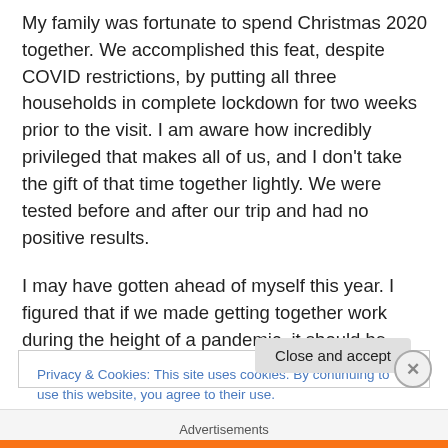My family was fortunate to spend Christmas 2020 together. We accomplished this feat, despite COVID restrictions, by putting all three households in complete lockdown for two weeks prior to the visit. I am aware how incredibly privileged that makes all of us, and I don't take the gift of that time together lightly. We were tested before and after our trip and had no positive results.
I may have gotten ahead of myself this year. I figured that if we made getting together work during the height of a pandemic, it should be even easier in 2021. I ordered
Privacy & Cookies: This site uses cookies. By continuing to use this website, you agree to their use.
To find out more, including how to control cookies, see here: Cookie Policy
Close and accept
Advertisements